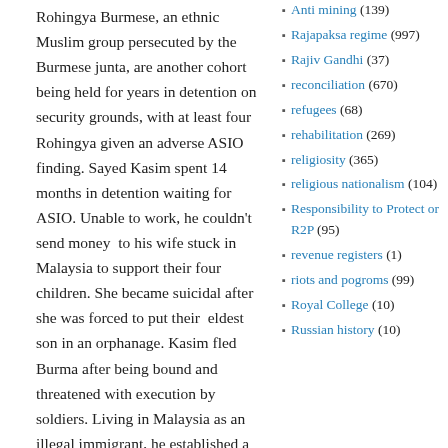Rohingya Burmese, an ethnic Muslim group persecuted by the Burmese junta, are another cohort being held for years in detention on security grounds, with at least four Rohingya given an adverse ASIO finding. Sayed Kasim spent 14 months in detention waiting for ASIO. Unable to work, he couldn't send money to his wife stuck in Malaysia to support their four children. She became suicidal after she was forced to put their eldest son in an orphanage. Kasim fled Burma after being bound and threatened with execution by soldiers. Living in Malaysia as an illegal immigrant, he established a school for Rohingya refugee children and became politically active. Harassed by Islamic religious extremists, he was again forced to run.
His story has a happy ending. Kasim was
Anti mining (139)
Rajapaksa regime (997)
Rajiv Gandhi (37)
reconciliation (670)
refugees (68)
rehabilitation (269)
religiosity (365)
religious nationalism (104)
Responsibility to Protect or R2P (95)
revenue registers (1)
riots and pogroms (99)
Royal College (10)
Russian history (10)